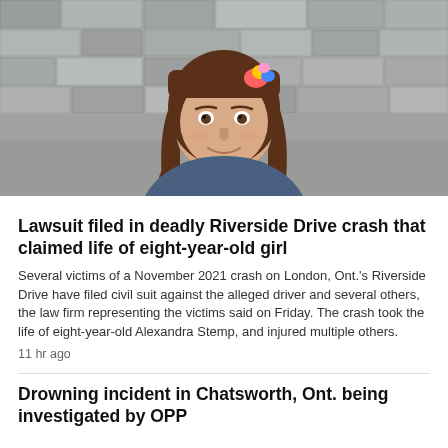[Figure (photo): Photo of a young girl with brown hair and a colorful hair accessory, smiling in front of a stone wall background.]
Lawsuit filed in deadly Riverside Drive crash that claimed life of eight-year-old girl
Several victims of a November 2021 crash on London, Ont.'s Riverside Drive have filed civil suit against the alleged driver and several others, the law firm representing the victims said on Friday. The crash took the life of eight-year-old Alexandra Stemp, and injured multiple others.
11 hr ago
Drowning incident in Chatsworth, Ont. being investigated by OPP